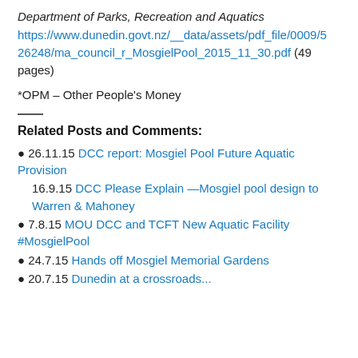Department of Parks, Recreation and Aquatics
https://www.dunedin.govt.nz/__data/assets/pdf_file/0009/526248/ma_council_r_MosgielPool_2015_11_30.pdf (49 pages)
*OPM – Other People's Money
Related Posts and Comments:
• 26.11.15 DCC report: Mosgiel Pool Future Aquatic Provision
16.9.15 DCC Please Explain —Mosgiel pool design to Warren & Mahoney
• 7.8.15 MOU DCC and TCFT New Aquatic Facility #MosgielPool
• 24.7.15 Hands off Mosgiel Memorial Gardens
• 20.7.15 Dunedin at a crossroads ...